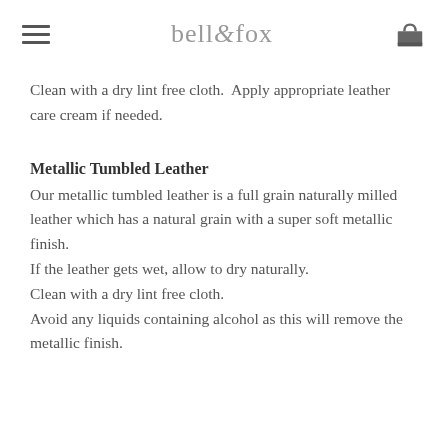bell&fox
Clean with a dry lint free cloth.  Apply appropriate leather care cream if needed.
Metallic Tumbled Leather
Our metallic tumbled leather is a full grain naturally milled leather which has a natural grain with a super soft metallic finish.
If the leather gets wet, allow to dry naturally.
Clean with a dry lint free cloth.
Avoid any liquids containing alcohol as this will remove the metallic finish.